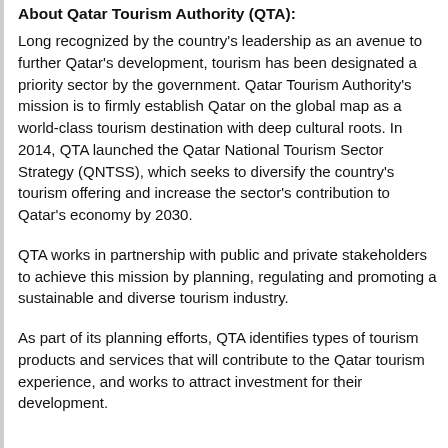About Qatar Tourism Authority (QTA):
Long recognized by the country's leadership as an avenue to further Qatar's development, tourism has been designated a priority sector by the government. Qatar Tourism Authority's mission is to firmly establish Qatar on the global map as a world-class tourism destination with deep cultural roots. In 2014, QTA launched the Qatar National Tourism Sector Strategy (QNTSS), which seeks to diversify the country's tourism offering and increase the sector's contribution to Qatar's economy by 2030.
QTA works in partnership with public and private stakeholders to achieve this mission by planning, regulating and promoting a sustainable and diverse tourism industry.
As part of its planning efforts, QTA identifies types of tourism products and services that will contribute to the Qatar tourism experience, and works to attract investment for their development.